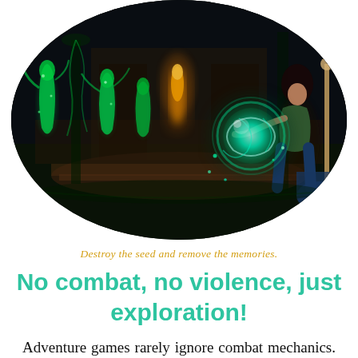[Figure (screenshot): A circular-cropped screenshot from Submerged: Hidden Depths showing a fantasy game scene with glowing green plant-like humanoid creatures, a glowing golden figure in the background, and a female character on the right holding a glowing green orb, set in a dark mystical arena environment.]
Destroy the seed and remove the memories.
No combat, no violence, just exploration!
Adventure games rarely ignore combat mechanics. However, Submerged: Hidden Depths does just that. The developers have created an ultra-relaxing title that has no fighting or violence at its